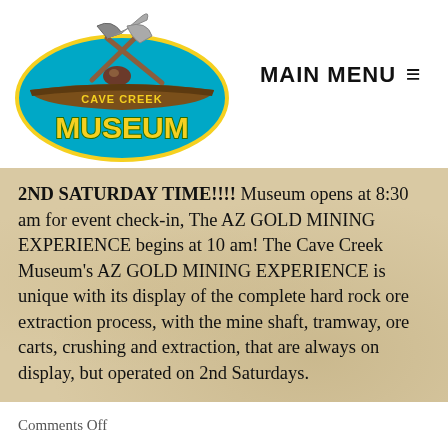[Figure (logo): Cave Creek Museum logo with pickaxe and shovel over teal oval, brown banner text reading CAVE CREEK MUSEUM in gold letters]
MAIN MENU ≡
2ND SATURDAY TIME!!!! Museum opens at 8:30 am for event check-in, The AZ GOLD MINING EXPERIENCE begins at 10 am! The Cave Creek Museum's AZ GOLD MINING EXPERIENCE is unique with its display of the complete hard rock ore extraction process, with the mine shaft, tramway, ore carts, crushing and extraction, that are always on display, but operated on 2nd Saturdays.
Comments Off